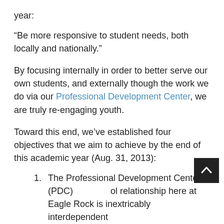year:
“Be more responsive to student needs, both locally and nationally.”
By focusing internally in order to better serve our own students, and externally though the work we do via our Professional Development Center, we are truly re-engaging youth.
Toward this end, we’ve established four objectives that we aim to achieve by the end of this academic year (Aug. 31, 2013):
1. The Professional Development Center (PDC) [scroll button obscures text] ol relationship here at Eagle Rock is inextricably interdependent
2. Our admissions process is aligned with the capacities [continues below]